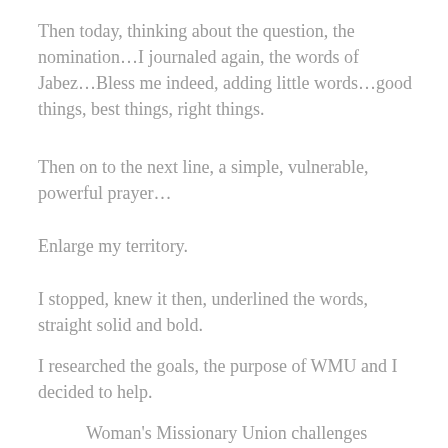Then today, thinking about the question, the nomination…I journaled again, the words of Jabez…Bless me indeed, adding little words…good things, best things, right things.
Then on to the next line, a simple, vulnerable, powerful prayer…
Enlarge my territory.
I stopped, knew it then, underlined the words, straight solid and bold.
I researched the goals, the purpose of WMU and I decided to help.
Woman's Missionary Union challenges Christian